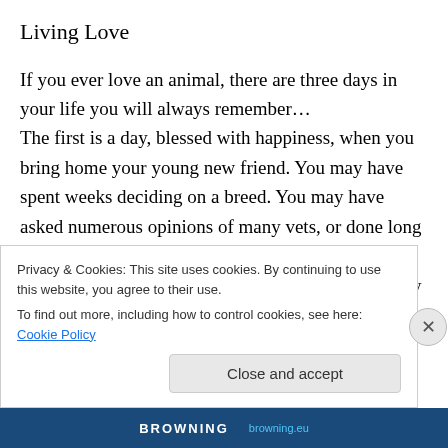Living Love
If you ever love an animal, there are three days in your life you will always remember…
The first is a day, blessed with happiness, when you bring home your young new friend. You may have spent weeks deciding on a breed. You may have asked numerous opinions of many vets, or done long research in finding a breeder. Or, perhaps in a fleeting moment, you may have just chosen that silly looking mutt in a shelter –
Privacy & Cookies: This site uses cookies. By continuing to use this website, you agree to their use.
To find out more, including how to control cookies, see here: Cookie Policy
BROWNING